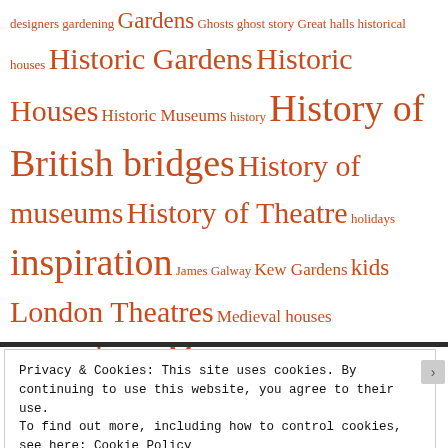designers gardening Gardens Ghosts ghost story Great halls historical houses Historic Gardens Historic Houses Historic Museums history History of British bridges History of museums History of Theatre holidays inspiration James Galway Kew Gardens kids London Theatres Medieval houses memories Moats Museums museums and galleries music novel Old Vic Theatre photographs poetry publishing research Ronald Welch ruins scientist Scotland Short Story stage Theatre Architects Theatres Theme Wales winter work World War 2 writer's block writing
Privacy & Cookies: This site uses cookies. By continuing to use this website, you agree to their use. To find out more, including how to control cookies, see here: Cookie Policy